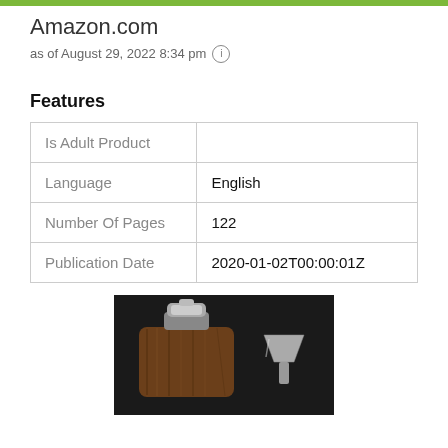Amazon.com
as of August 29, 2022 8:34 pm ⓘ
Features
|  |  |
| --- | --- |
| Is Adult Product |  |
| Language | English |
| Number Of Pages | 122 |
| Publication Date | 2020-01-02T00:00:01Z |
[Figure (photo): Product photo showing a wooden hip flask with metal cap and a small metal funnel, displayed in a dark box/case]